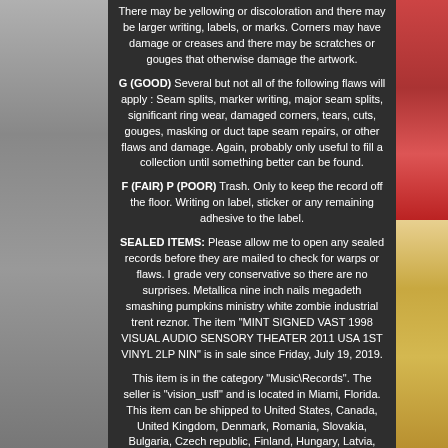There may be yellowing or discoloration and there may be larger writing, labels, or marks. Corners may have damage or creases and there may be scratches or gouges that otherwise damage the artwork.
G (GOOD) Several but not all of the following flaws will apply : Seam splits, marker writing, major seam splits, significant ring wear, damaged corners, tears, cuts, gouges, masking or duct tape seam repairs, or other flaws and damage. Again, probably only useful to fill a collection until something better can be found.
F (FAIR) P (POOR) Trash. Only to keep the record off the floor. Writing on label, sticker or any remaining adhesive to the label.
SEALED ITEMS: Please allow me to open any sealed records before they are mailed to check for warps or flaws. I grade very conservative so there are no surprises. Metallica nine inch nails megadeth smashing pumpkins ministry white zombie industrial trent reznor. The item "MINT SIGNED VAST 1998 VISUAL AUDIO SENSORY THEATER 2011 USA 1ST VINYL 2LP NIN" is in sale since Friday, July 19, 2019.
This item is in the category "Music\Records". The seller is "vision_usfl" and is located in Miami, Florida. This item can be shipped to United States, Canada, United Kingdom, Denmark, Romania, Slovakia, Bulgaria, Czech republic, Finland, Hungary, Latvia, Lithuania, Malta, Estonia, Australia, Greece, Portugal, Cyprus, Slovenia, Japan, China, Sweden, South Korea, Indonesia, Taiwan, South africa, Thailand, Belgium, France, Hong Kong,